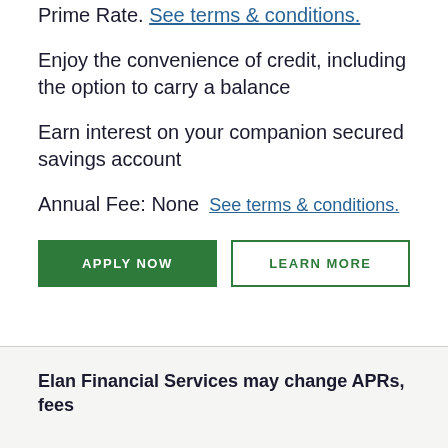Prime Rate. See terms & conditions.
Enjoy the convenience of credit, including the option to carry a balance
Earn interest on your companion secured savings account
Annual Fee: None  See terms & conditions.
APPLY NOW
LEARN MORE
Elan Financial Services may change APRs, fees